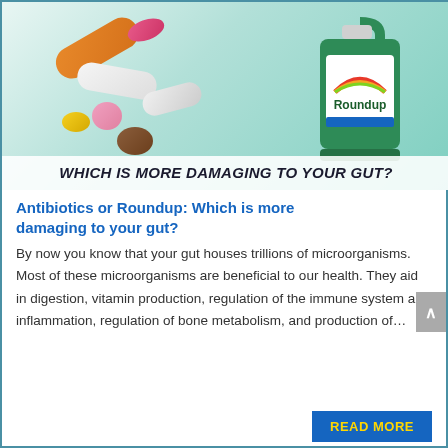[Figure (photo): Photo showing various pills and tablets on the left side, and a green Roundup herbicide bottle on the right side, against a teal/mint background. Text overlay reads 'WHICH IS MORE DAMAGING TO YOUR GUT?' in bold italic uppercase.]
Antibiotics or Roundup: Which is more damaging to your gut?
By now you know that your gut houses trillions of microorganisms. Most of these microorganisms are beneficial to our health. They aid in digestion, vitamin production, regulation of the immune system and inflammation, regulation of bone metabolism, and production of…
READ MORE